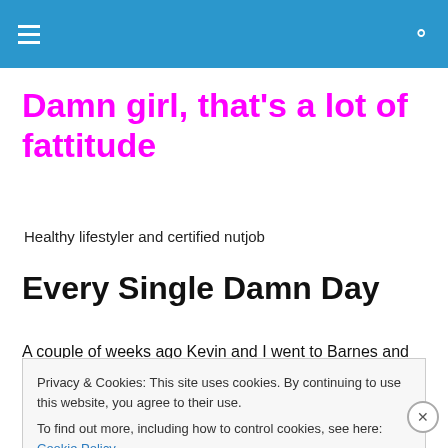Damn girl, that's a lot of fattitude — navigation header
Damn girl, that's a lot of fattitude
Healthy lifestyler and certified nutjob
Every Single Damn Day
A couple of weeks ago Kevin and I went to Barnes and
Privacy & Cookies: This site uses cookies. By continuing to use this website, you agree to their use.
To find out more, including how to control cookies, see here: Cookie Policy
Close and accept